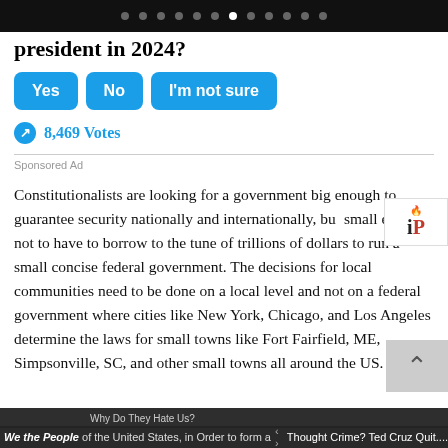[navigation dots]
president in 2024?
Yes  No  I'm not sure
8,469 Votes
Sponsored Ad
Constitutionalists are looking for a government big enough to guarantee security nationally and internationally, but small enough not to have to borrow to the tune of trillions of dollars to run a small concise federal government. The decisions for local communities need to be done on a local level and not on a federal government where cities like New York, Chicago, and Los Angeles determine the laws for small towns like Fort Fairfield, ME, Simpsonville, SC, and other small towns all around the US.
We the People of the United States, in Order to form a more perfect Union, establish Justice, insure...
Thought Crime? Ted Cruz Quit....